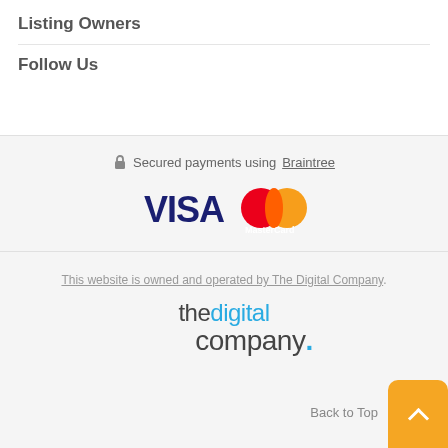Listing Owners
Follow Us
Secured payments using Braintree
[Figure (logo): Visa and MasterCard payment logos]
This website is owned and operated by The Digital Company.
[Figure (logo): The Digital Company logo]
Back to Top